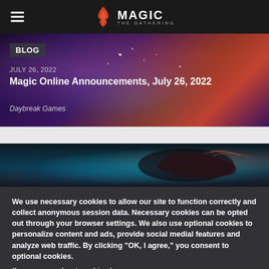Magic: The Gathering navigation bar with hamburger menu and logo
[Figure (screenshot): Magic: The Gathering blog hero image with glowing energy art background]
BLOG
JULY 26, 2022
Magic Online Announcements, July 26, 2022
Daybreak Games
[Figure (illustration): Dark fantasy creature illustration on teal/dark background]
We use necessary cookies to allow our site to function correctly and collect anonymous session data. Necessary cookies can be opted out through your browser settings. We also use optional cookies to personalize content and ads, provide social medial features and analyze web traffic. By clicking "OK, I agree," you consent to optional cookies.
(Learn more about cookies.)